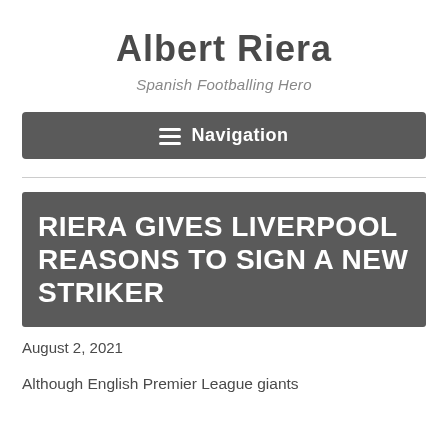Albert Riera
Spanish Footballing Hero
Navigation
RIERA GIVES LIVERPOOL REASONS TO SIGN A NEW STRIKER
August 2, 2021
Although English Premier League giants